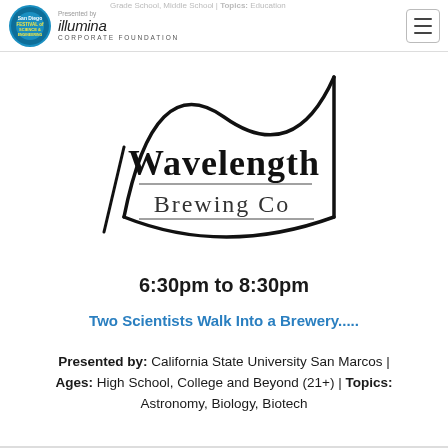San Diego Festival of Science & Engineering | Presented by illumina CORPORATE FOUNDATION | Grade School, Middle School | Topics: Education
[Figure (logo): Wavelength Brewing Co logo — stylized arch wave above text 'Wavelength Brewing Co' in retro lettering]
6:30pm to 8:30pm
Two Scientists Walk Into a Brewery.....
Presented by: California State University San Marcos | Ages: High School, College and Beyond (21+) | Topics: Astronomy, Biology, Biotech